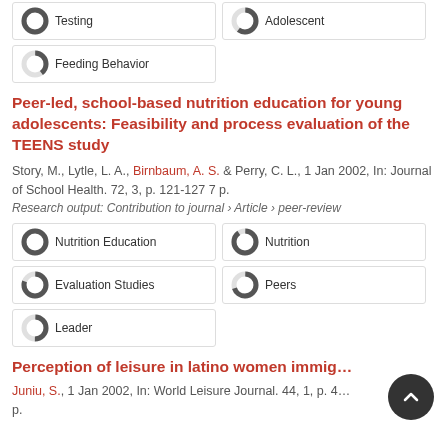100% Testing
60% Adolescent
40% Feeding Behavior
Peer-led, school-based nutrition education for young adolescents: Feasibility and process evaluation of the TEENS study
Story, M., Lytle, L. A., Birnbaum, A. S. & Perry, C. L., 1 Jan 2002, In: Journal of School Health. 72, 3, p. 121-127 7 p.
Research output: Contribution to journal › Article › peer-review
100% Nutrition Education
90% Nutrition
80% Evaluation Studies
70% Peers
50% Leader
Perception of leisure in latino women immig...
Juniu, S., 1 Jan 2002, In: World Leisure Journal. 44, 1, p. 4... p.